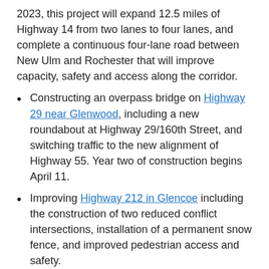2023, this project will expand 12.5 miles of Highway 14 from two lanes to four lanes, and complete a continuous four-lane road between New Ulm and Rochester that will improve capacity, safety and access along the corridor.
Constructing an overpass bridge on Highway 29 near Glenwood, including a new roundabout at Highway 29/160th Street, and switching traffic to the new alignment of Highway 55. Year two of construction begins April 11.
Improving Highway 212 in Glencoe including the construction of two reduced conflict intersections, installation of a permanent snow fence, and improved pedestrian access and safety.
Resurfacing and improving safety on Highway 71 north of Bemidji with eight redesigned intersections.